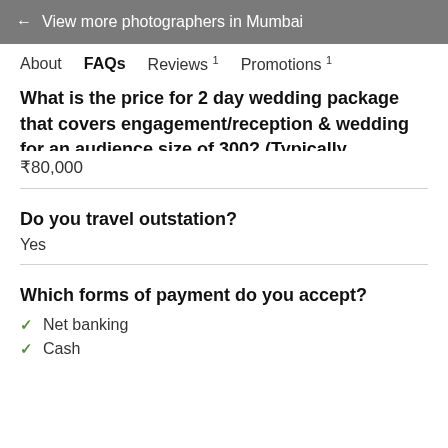← View more photographers in Mumbai
About  FAQs  Reviews 1  Promotions 1
What is the price for 2 day wedding package that covers engagement/reception & wedding for an audience size of 300? (Typically includes: Photography & Videography, both shot candidly and traditionally)
₹80,000
Do you travel outstation?
Yes
Which forms of payment do you accept?
Net banking
Cash